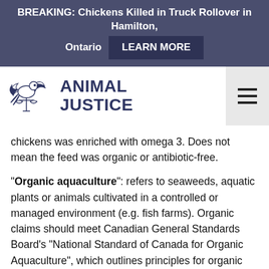BREAKING: Chickens Killed in Truck Rollover in Hamilton, Ontario  LEARN MORE
[Figure (logo): Animal Justice logo: stylized bird/dove with scales of justice icon and text 'ANIMAL JUSTICE' in dark navy bold font]
chickens was enriched with omega 3. Does not mean the feed was organic or antibiotic-free.
“Organic aquaculture”: refers to seaweeds, aquatic plants or animals cultivated in a controlled or managed environment (e.g. fish farms). Organic claims should meet Canadian General Standards Board’s “National Standard of Canada for Organic Aquaculture”, which outlines principles for organic aquaculture production and specifies minimum criteria that should be met to use “organic”, however, this is a voluntary national standard: a producer or processor may ask an independent certifying body to certify the product and may then label the product as